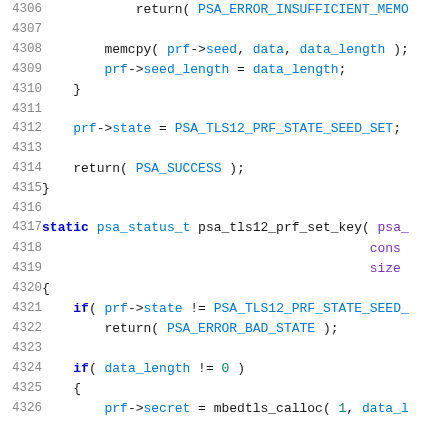Source code listing lines 4306-4326, C language